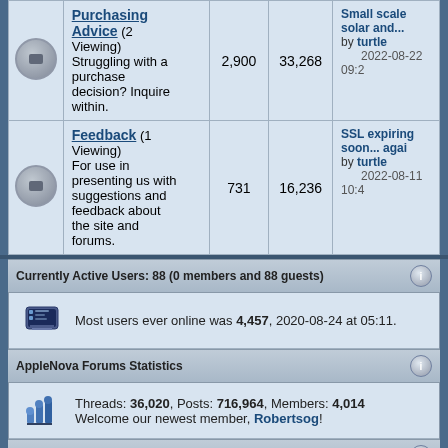|  | Forum | Threads | Posts | Last Post |
| --- | --- | --- | --- | --- |
| [icon] | Purchasing Advice (2 Viewing) Struggling with a purchase decision? Inquire within. | 2,900 | 33,268 | Small scale solar and... by turtle 2022-08-22 09:2 |
| [icon] | Feedback (1 Viewing) For use in presenting us with suggestions and feedback about the site and forums. | 731 | 16,236 | SSL expiring soon... again by turtle 2022-08-11 10:4 |
Currently Active Users: 88 (0 members and 88 guests)
Most users ever online was 4,457, 2020-08-24 at 05:11.
AppleNova Forums Statistics
Threads: 36,020, Posts: 716,964, Members: 4,014 Welcome our newest member, Robertsog!
Today's Birthdays
Robotron1000 (45)
Icon Legend
| Forum | Forum | Forum is |
| --- | --- | --- |